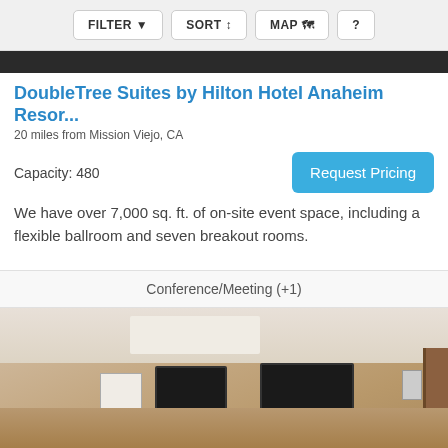FILTER  SORT  MAP  ?
[Figure (photo): Partial hotel/venue hero image strip at top]
DoubleTree Suites by Hilton Hotel Anaheim Resor...
20 miles from Mission Viejo, CA
Capacity: 480
Request Pricing
We have over 7,000 sq. ft. of on-site event space, including a flexible ballroom and seven breakout rooms.
Conference/Meeting (+1)
[Figure (photo): Interior photo of a conference/meeting room with brown walls, ceiling skylights, two wall-mounted TV screens, a whiteboard, and tables with chairs]